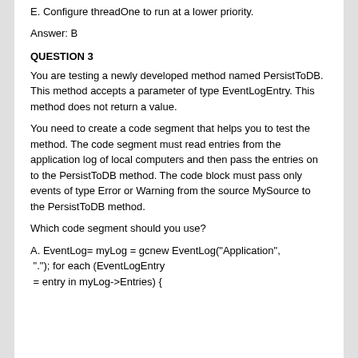E. Configure threadOne to run at a lower priority.
Answer: B
QUESTION 3
You are testing a newly developed method named PersistToDB. This method accepts a parameter of type EventLogEntry. This method does not return a value.
You need to create a code segment that helps you to test the method. The code segment must read entries from the application log of local computers and then pass the entries on to the PersistToDB method. The code block must pass only events of type Error or Warning from the source MySource to the PersistToDB method.
Which code segment should you use?
A. EventLog= myLog = gcnew EventLog("Application", "."); for each (EventLogEntry = entry in myLog->Entries) {